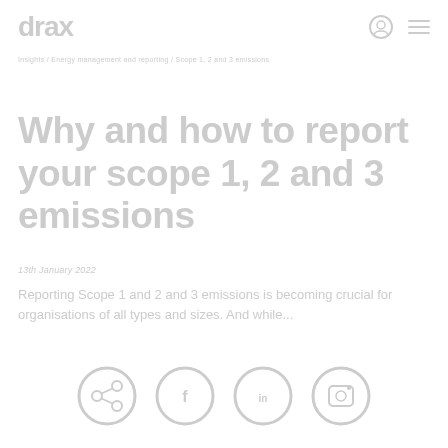drax
Insights / Energy management and reporting / Scope 1, 2 and 3 emissions
Why and how to report your scope 1, 2 and 3 emissions
13th January 2022
Reporting Scope 1, 2 and 3 emissions is becoming crucial for organisations of all types and sizes. And while...
[Figure (illustration): Three circular social sharing / action icons at the bottom of the page]